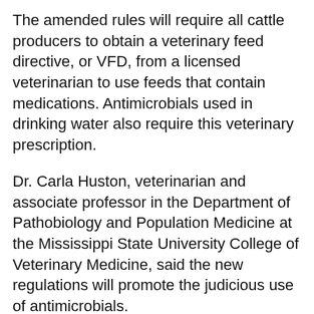The amended rules will require all cattle producers to obtain a veterinary feed directive, or VFD, from a licensed veterinarian to use feeds that contain medications. Antimicrobials used in drinking water also require this veterinary prescription.
Dr. Carla Huston, veterinarian and associate professor in the Department of Pathobiology and Population Medicine at the Mississippi State University College of Veterinary Medicine, said the new regulations will promote the judicious use of antimicrobials.
“While these regulations may seem burdensome at first, the long-term effects will provide a positive overall opportunity for the livestock industry,” Huston said. “The new regulations will help to ensure that we continue to have a safe and wholesome food supply by protecting both animal and human health. They will also help promote the important relationship between the producer and the veterinarian.”